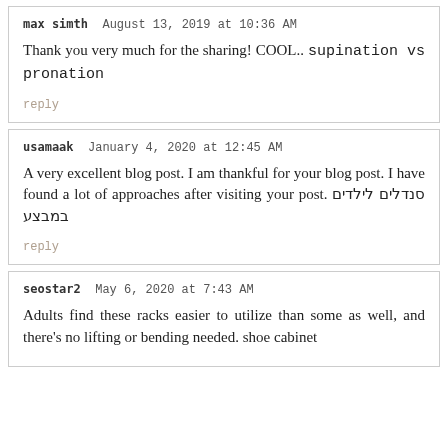max simth  August 13, 2019 at 10:36 AM
Thank you very much for the sharing! COOL.. supination vs pronation
reply
usamaak  January 4, 2020 at 12:45 AM
A very excellent blog post. I am thankful for your blog post. I have found a lot of approaches after visiting your post. סנדלים לילדים במבצע
reply
seostar2  May 6, 2020 at 7:43 AM
Adults find these racks easier to utilize than some as well, and there's no lifting or bending needed. shoe cabinet